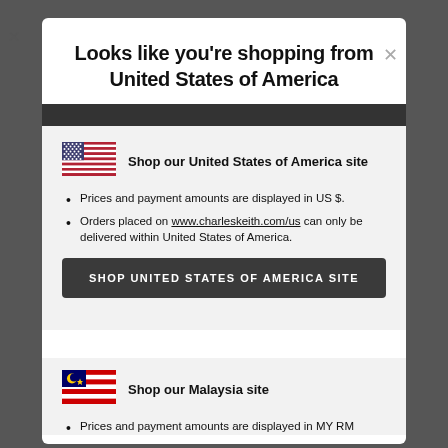Looks like you're shopping from United States of America
[Figure (illustration): US flag icon]
Shop our United States of America site
Prices and payment amounts are displayed in US $.
Orders placed on www.charleskeith.com/us can only be delivered within United States of America.
SHOP UNITED STATES OF AMERICA SITE
[Figure (illustration): Malaysia flag icon]
Shop our Malaysia site
Prices and payment amounts are displayed in MY RM